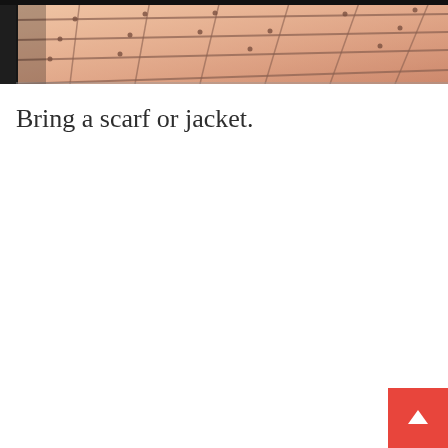[Figure (photo): Photo of an outdoor paved floor/pavement with square terracotta/salmon-colored stone tiles, shot from above at an angle. Dark border visible at the top and left edge. Warm sunlight illuminating the tiles.]
Bring a scarf or jacket.